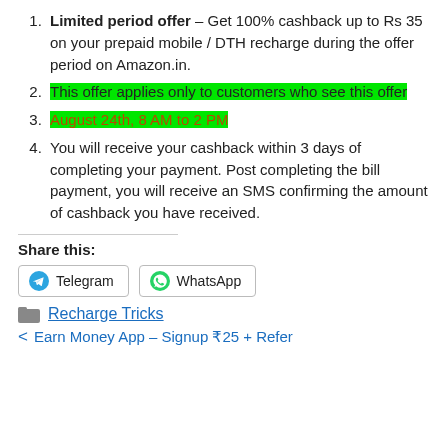Limited period offer – Get 100% cashback up to Rs 35 on your prepaid mobile / DTH recharge during the offer period on Amazon.in.
This offer applies only to customers who see this offer
August 24th, 8 AM to 2 PM
You will receive your cashback within 3 days of completing your payment. Post completing the bill payment, you will receive an SMS confirming the amount of cashback you have received.
Share this:
Telegram   WhatsApp
Recharge Tricks
< Earn Money App – Signup ₹25 + Refer